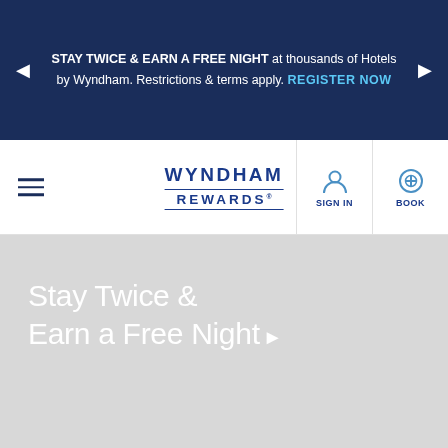STAY TWICE & EARN A FREE NIGHT at thousands of Hotels by Wyndham. Restrictions & terms apply. REGISTER NOW
[Figure (logo): Wyndham Rewards logo with navigation bar including hamburger menu, SIGN IN and BOOK icons]
Stay Twice & Earn a Free Night ▶